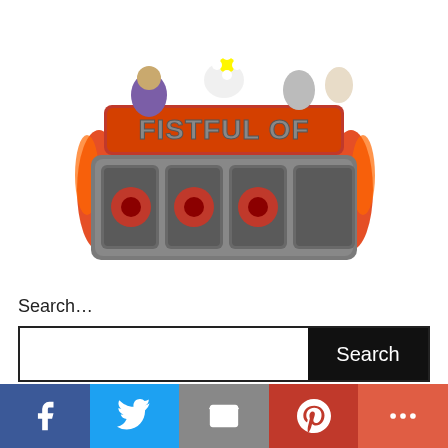[Figure (logo): Fistful of Doom logo — stylized stone letters spelling FISTFUL OF DOOM with red flames and cartoon characters on top, on a white background.]
Search…
[Figure (other): Search bar with white input field and black Search button]
[Figure (infographic): Social sharing bar with Facebook (blue), Twitter (light blue), Email (grey), Pinterest (red), and More (orange-red) buttons]